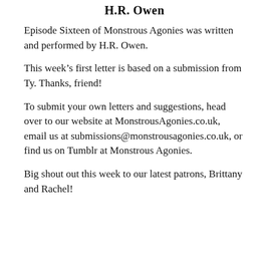H.R. Owen
Episode Sixteen of Monstrous Agonies was written and performed by H.R. Owen.
This week’s first letter is based on a submission from Ty. Thanks, friend!
To submit your own letters and suggestions, head over to our website at MonstrousAgonies.co.uk, email us at submissions@monstrousagonies.co.uk, or find us on Tumblr at Monstrous Agonies.
Big shout out this week to our latest patrons, Brittany and Rachel!